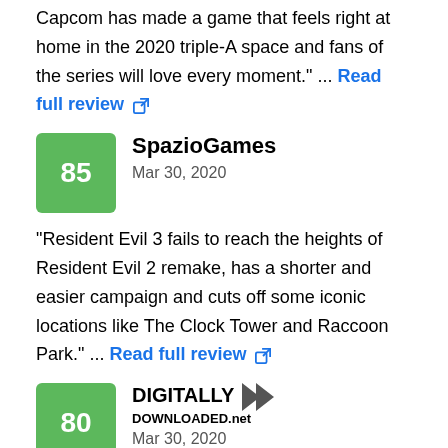Capcom has made a game that feels right at home in the 2020 triple-A space and fans of the series will love every moment." ... Read full review
SpazioGames, Mar 30, 2020, Score: 85
"Resident Evil 3 fails to reach the heights of Resident Evil 2 remake, has a shorter and easier campaign and cuts off some iconic locations like The Clock Tower and Raccoon Park." ... Read full review
Digitally Downloaded.net, Mar 30, 2020, Score: 80
"I recognise that Resident Evil and what I want Resident Evil to be are on different trajectories. I still want the series to engage with the horror of being almost out of bullets and surrounded by a hostile world of very dangerous enemies. I also want more of the dry humour of the B-grade that used